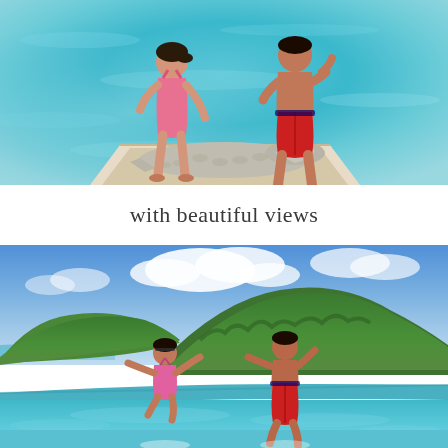[Figure (photo): Two children standing on a platform over crystal-clear turquoise water, with a crocodile statue/sculpture lying between them. The boy wears red swim shorts and the girl wears a pink swimsuit. Wide-angle tropical ocean view.]
with beautiful views
[Figure (photo): Two children jumping into an infinity pool with stunning views of turquoise water, green tropical hills, and partly cloudy blue sky in the background. The girl wears a pink swimsuit and the boy wears red swim shorts.]